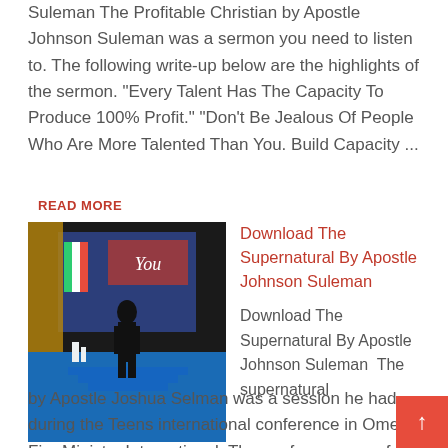Suleman The Profitable Christian by Apostle Johnson Suleman was a sermon you need to listen to. The following write-up below are the highlights of the sermon. "Every Talent Has The Capacity To Produce 100% Profit." "Don't Be Jealous Of People Who Are More Talented Than You. Build Capacity ...
READ MORE
[Figure (photo): Photo of a man in a dark suit standing on a stage with blue steps and decorative background including flags and a large screen]
Download The Supernatural By Apostle Johnson Suleman
Download The Supernatural By Apostle Johnson Suleman  The supernatural by Apostle Joshua Selman was a session he had during the Teens international conference in Omega Fire Ministry International. The conference was fo the teenagers. The supernatural is something that